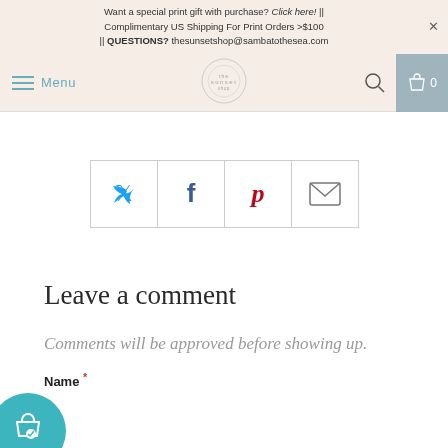Want a special print gift with purchase? Click here! || Complimentary US Shipping For Print Orders >$100 || QUESTIONS? thesunsetshop@sambatothesea.com
Menu | [logo] | [search] | [cart] 0
[Figure (screenshot): Social sharing buttons row: Twitter (blue bird), Facebook (blue f), Pinterest (red P), Email (envelope)]
Leave a comment
Comments will be approved before showing up.
Name *